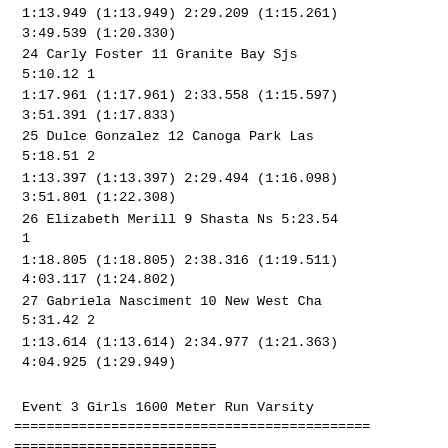1:13.949 (1:13.949) 2:29.209 (1:15.261) 3:49.539 (1:20.330)
24 Carly Foster 11 Granite Bay Sjs 5:10.12 1
1:17.961 (1:17.961) 2:33.558 (1:15.597) 3:51.391 (1:17.833)
25 Dulce Gonzalez 12 Canoga Park Las 5:18.51 2
1:13.397 (1:13.397) 2:29.494 (1:16.098) 3:51.801 (1:22.308)
26 Elizabeth Merill 9 Shasta Ns 5:23.54 1
1:18.805 (1:18.805) 2:38.316 (1:19.511) 4:03.117 (1:24.802)
27 Gabriela Nasciment 10 New West Cha 5:31.42 2
1:13.614 (1:13.614) 2:34.977 (1:21.363) 4:04.925 (1:29.949)
Event 3 Girls 1600 Meter Run Varsity
================================================================